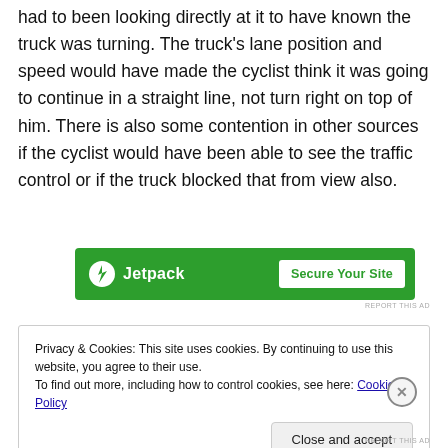had to been looking directly at it to have known the truck was turning. The truck's lane position and speed would have made the cyclist think it was going to continue in a straight line, not turn right on top of him. There is also some contention in other sources if the cyclist would have been able to see the traffic control or if the truck blocked that from view also.
[Figure (other): Jetpack advertisement banner with green background, lightning bolt logo, brand name 'Jetpack', and white 'Secure Your Site' button]
Privacy & Cookies: This site uses cookies. By continuing to use this website, you agree to their use.
To find out more, including how to control cookies, see here: Cookie Policy
Close and accept